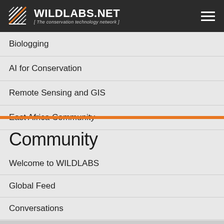WILDLABS.NET [ The conservation technology network ]
Biologging
AI for Conservation
Remote Sensing and GIS
East Africa Community
Community
Welcome to WILDLABS
Global Feed
Conversations
Member Directory
Event Calendar
News, Articles & Opportunities